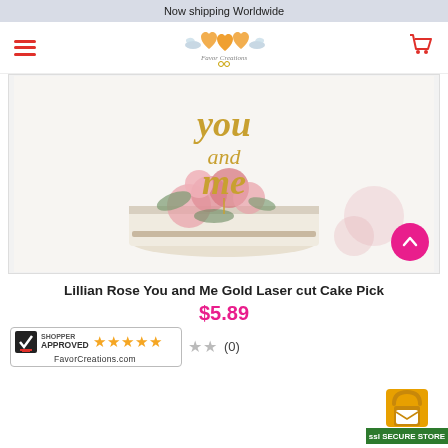Now shipping Worldwide
[Figure (logo): Favor Creations logo with two hearts and doves]
[Figure (photo): Wedding cake with 'you and me' gold laser cut cake topper and pink roses]
Lillian Rose You and Me Gold Laser cut Cake Pick
$5.89
(0)
[Figure (logo): Shopper Approved badge with 5 stars and FavorCreations.com]
[Figure (logo): SSL Secure Store badge]